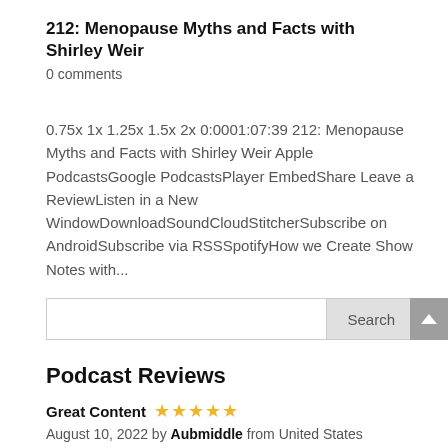212: Menopause Myths and Facts with Shirley Weir
0 comments
0.75x 1x 1.25x 1.5x 2x 0:0001:07:39 212: Menopause Myths and Facts with Shirley Weir Apple PodcastsGoogle PodcastsPlayer EmbedShare Leave a ReviewListen in a New WindowDownloadSoundCloudStitcherSubscribe on AndroidSubscribe via RSSSpotifyHow we Create Show Notes with...
Podcast Reviews
Great Content ★★★★★
August 10, 2022 by Aubmiddle from United States